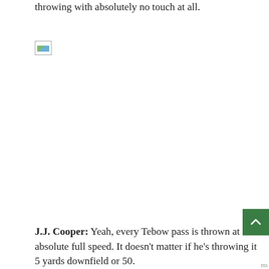throwing with absolutely no touch at all.
[Figure (photo): Broken/missing image placeholder icon]
J.J. Cooper: Yeah, every Tebow pass is thrown at absolute full speed. It doesn't matter if he's throwing it 5 yards downfield or 50.